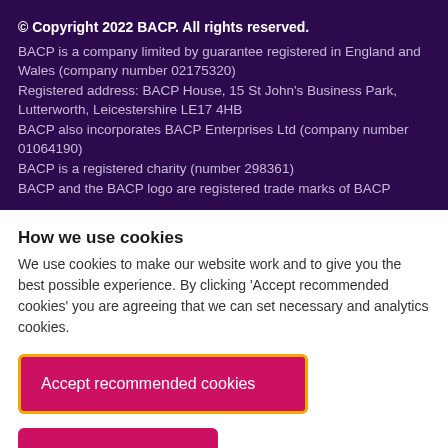© Copyright 2022 BACP. All rights reserved. BACP is a company limited by guarantee registered in England and Wales (company number 02175320) Registered address: BACP House, 15 St John's Business Park, Lutterworth, Leicestershire LE17 4HB BACP also incorporates BACP Enterprises Ltd (company number 01064190) BACP is a registered charity (number 298361) BACP and the BACP logo are registered trade marks of BACP
How we use cookies
We use cookies to make our website work and to give you the best possible experience. By clicking 'Accept recommended cookies' you are agreeing that we can set necessary and analytics cookies.
Accept recommended cookies
Manage cookies